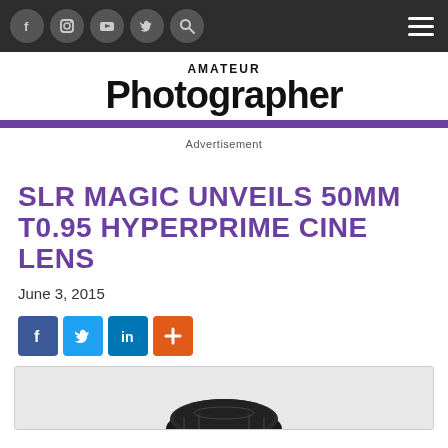Amateur Photographer — Navigation bar with social icons and hamburger menu
Amateur Photographer
Advertisement
SLR MAGIC UNVEILS 50MM T0.95 HYPERPRIME CINE LENS
June 3, 2015
[Figure (other): Social share buttons: Facebook, Twitter, LinkedIn, and a plus/share button]
[Figure (photo): Photo of SLR Magic 50mm T0.95 HyperPrime Cine lens, partially visible at the bottom of the page]